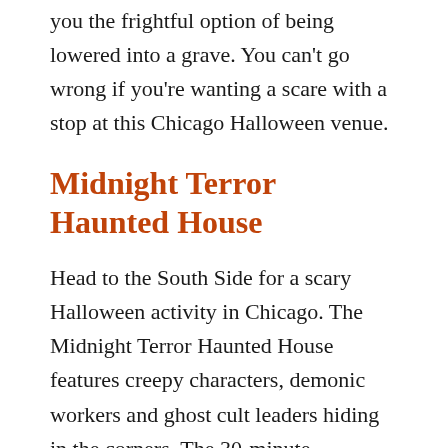you the frightful option of being lowered into a grave. You can't go wrong if you're wanting a scare with a stop at this Chicago Halloween venue.
Midnight Terror Haunted House
Head to the South Side for a scary Halloween activity in Chicago. The Midnight Terror Haunted House features creepy characters, demonic workers and ghost cult leaders hiding in the corners. The 30-minute experience ends with a jaunt through Chainsaw Alley to top of your Chicago Halloween haunted house extravaganza.
Whether you want an experience right out of a